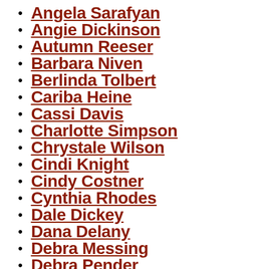Angela Sarafyan
Angie Dickinson
Autumn Reeser
Barbara Niven
Berlinda Tolbert
Cariba Heine
Cassi Davis
Charlotte Simpson
Chrystale Wilson
Cindi Knight
Cindy Costner
Cynthia Rhodes
Dale Dickey
Dana Delany
Debra Messing
Debra Pender